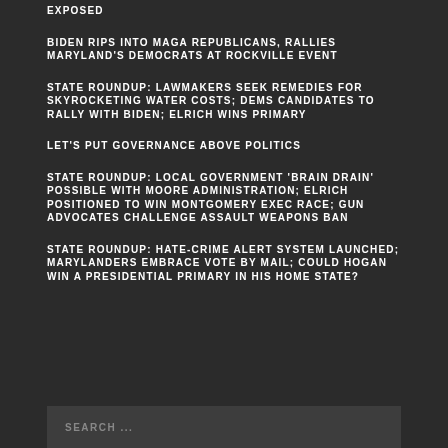EXPOSED
BIDEN RIPS INTO MAGA REPUBLICANS, RALLIES MARYLAND'S DEMOCRATS AT ROCKVILLE EVENT
STATE ROUNDUP: LAWMAKERS SEEK REMEDIES FOR SKYROCKETING WATER COSTS; DEMS CANDIDATES TO RALLY WITH BIDEN; ELRICH WINS PRIMARY
LET'S PUT GOVERNANCE ABOVE POLITICS
STATE ROUNDUP: LOCAL GOVERNMENT 'BRAIN DRAIN' POSSIBLE WITH MOORE ADMINISTRATION; ELRICH POSITIONED TO WIN MONTGOMERY EXEC RACE; GUN ADVOCATES CHALLENGE ASSAULT WEAPONS BAN
STATE ROUNDUP: HATE-CRIME ALERT SYSTEM LAUNCHED; MARYLANDERS EMBRACE VOTE BY MAIL; COULD HOGAN WIN A PRESIDENTIAL PRIMARY IN HIS HOME STATE?
SEARCH ...